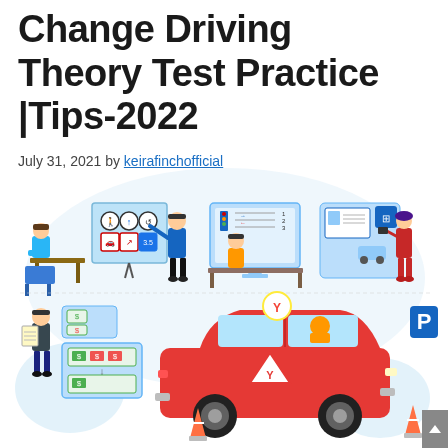Change Driving Theory Test Practice |Tips-2022
July 31, 2021 by keirafinchofficial
[Figure (illustration): Illustration showing driving theory test practice scenes: a student at a desk with a teacher pointing at road signs on a whiteboard, a person working on a computer with traffic signal diagrams on screen, a person holding a driver's license card with a car icon, and in the lower section a learner driver in a red car with a Y learner plate and triangle hazard sign, a person with a clipboard, road obstacle diagrams on a board, a parking sign, and traffic cones.]